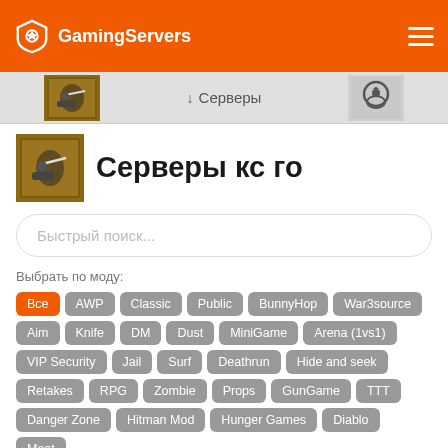GamingServers
[Figure (screenshot): Navigation bar with CS:GO game icon, down arrow Серверы label, and CS:GO logo]
Серверы кс го
Быстрый поиск...
Выбрать по моду:
Все
AWP
Classic
Public
BunnyHop
War3source
Aim
Knife
DM
Dust
MiniGame
Arena (1vs1)
VIP Security
Jail
Surf
Deathrun
Hide and seek
Retakes
RPG
Zombie
Props
GunGame
TTT
Danger Zone
Hitman Mod
Hunger Games
Diablo
Meat